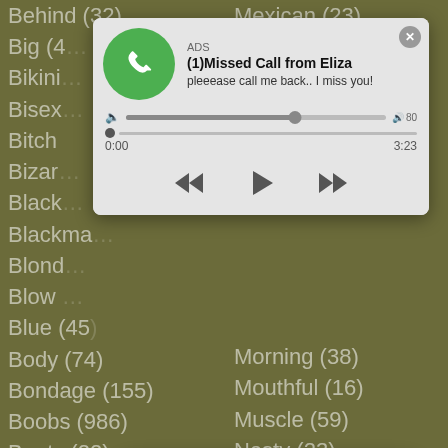[Figure (screenshot): Adult content website category list with two overlaid ad popups: an audio player ad (Missed Call from Eliza) and a chat notification ad (Angel is typing).]
Behind (32) Big (4 Bikini Bisex Bitch Bizar Black Blackma Blond Blow Bl Blue (45) Body (74) Bondage (155) Boobs (986) Boots (22) Booty (167) Boss (89) Bottle (?) Mexican (23) Morning (38) Mouthful (16) Muscle (59) Nasty (23) Nature (20) Naughty (91) Neighbor (?)
[Figure (screenshot): Audio ad popup: ADS label, green phone icon, title '(1)Missed Call from Eliza', subtitle 'pleeease call me back.. I miss you!', audio progress bar, time 0:00 to 3:23, media controls (rewind, play, fast-forward), close button X]
[Figure (screenshot): Chat ad popup: circular avatar with LIVE badge and red notification dot, pink gradient bubble with ADS label, 'Angel is typing ... ' text, '(1) unread message', close X button]